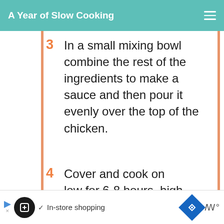A Year of Slow Cooking
3  In a small mixing bowl combine the rest of the ingredients to make a sauce and then pour it evenly over the top of the chicken.
4  Cover and cook on low for 6-8 hours, high for 4-6--if your chicken isn't frozen, your dinner will cook faster.
5  Serve with white or brown
[Figure (screenshot): WHAT'S NEXT widget with thumbnail showing Best Slow Cooker... text and arrow]
[Figure (screenshot): Ad bar with shopping icons - In-store shopping advertisement]